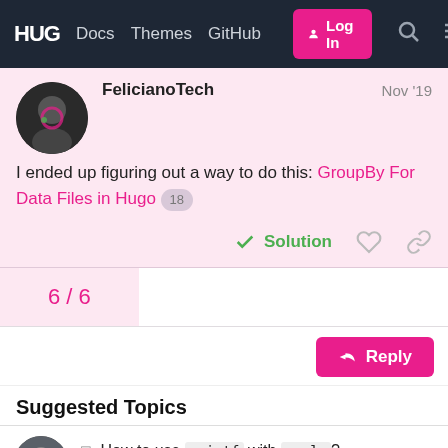HUG  Docs  Themes  GitHub  Log In
FelicianoTech  Nov '19
I ended up figuring out a way to do this: GroupBy For Data Files in Hugo  18
✓ Solution
6 / 6
↩ Reply
Suggested Topics
☐ How to use `printf` with `apply`?
support  Sep '21  6
☐ How to Get Shortcode Variables From Pages Into sitemap.xml  3